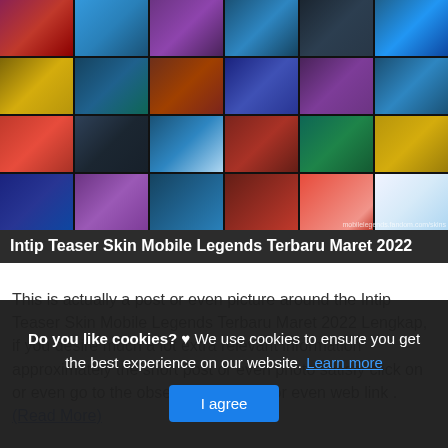[Figure (illustration): Grid collage of Mobile Legends game character skin artwork images, multiple heroes with colorful fantasy art styles]
Intip Teaser Skin Mobile Legends Terbaru Maret 2022
This is actually a post or even picture around the Intip Teaser Skin Mobile Legends Terbaru Maret 2022 Lengkap, if you desire much a lot extra relevant information approximately the short post or even photo satisfy click on or even go to the observing web link or even web link .
(Read More)
Do you like cookies? ♥ We use cookies to ensure you get the best experience on our website. Learn more
I agree